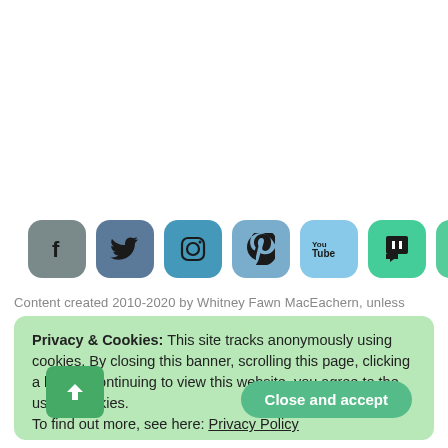[Figure (infographic): Row of 7 social media icon buttons: Facebook (gray), Twitter (slate blue), Instagram (teal blue), Pinterest (light blue), YouTube (light blue), Twitch (green), and a G-shape icon (green)]
Content created 2010-2020 by Whitney Fawn MacEachern, unless
Privacy & Cookies: This site tracks anonymously using cookies. By closing this banner, scrolling this page, clicking a link, or continuing to view this website, you agree to the use of cookies.
To find out more, see here: Privacy Policy
Close and accept